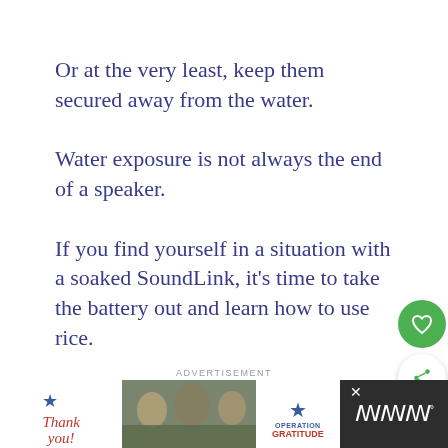Or at the very least, keep them secured away from the water.
Water exposure is not always the end of a speaker.
If you find yourself in a situation with a soaked SoundLink, it's time to take the battery out and learn how to use rice.
ADVERTISEMENT
[Figure (other): Advertisement banner: Thank you military appreciation ad for Operation Gratitude, shown in a dark banner at the bottom of the page with a MW logo on the right.]